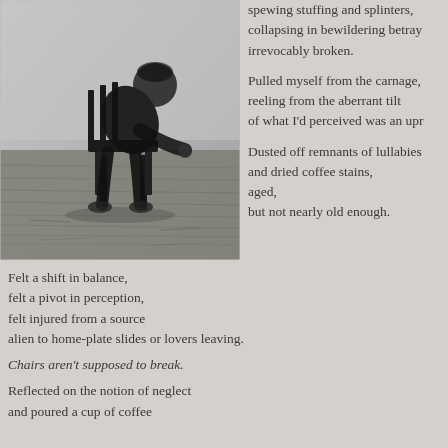[Figure (photo): Black and white photograph of a person hunched over sitting on a chair outdoors, appearing dejected or tired, with a textured ground beneath.]
spewing stuffing and splinters,
collapsing in bewildering betray
irrevocably broken.

Pulled myself from the carnage,
reeling from the aberrant tilt
of what I'd perceived was an upr

Dusted off remnants of lullabies
and dried coffee stains,
aged,
but not nearly old enough.
Felt a shift in balance,
felt a pivot in perception,
felt injured from a source
alien to home-plate slides or lovers leaving.

Chairs aren't supposed to break.

Reflected on the notion of neglect
and poured a cup of coffee